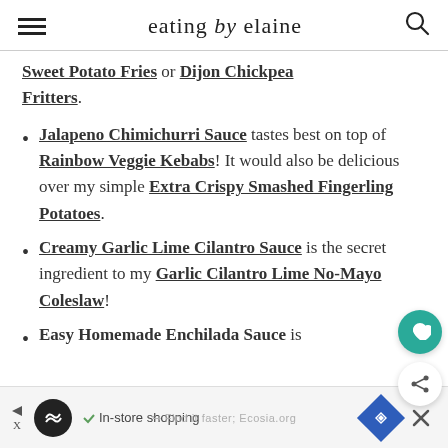eating by elaine
Sweet Potato Fries or Dijon Chickpea Fritters.
Jalapeno Chimichurri Sauce tastes best on top of Rainbow Veggie Kebabs! It would also be delicious over my simple Extra Crispy Smashed Fingerling Potatoes.
Creamy Garlic Lime Cilantro Sauce is the secret ingredient to my Garlic Cilantro Lime No-Mayo Coleslaw!
Easy Homemade Enchilada Sauce is